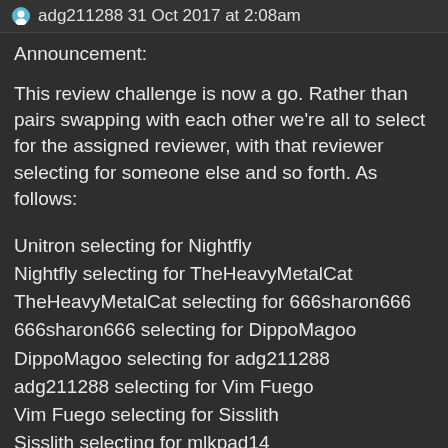adg211288 31 Oct 2017 at 2:08am
Announcement:
This review challenge is now a go. Rather than pairs swapping with each other we're all to select for the assigned reviewer, with that reviewer selecting for someone else and so forth. As follows:
Unitron selecting for Nightfly
Nightfly selecting for TheHeavyMetalCat
TheHeavyMetalCat selecting for 666sharon666
666sharon666 selecting for DippoMagoo
DippoMagoo selecting for adg211288
adg211288 selecting for Vim Fuego
Vim Fuego selecting for Sisslith
Sisslith selecting for mlkpad14